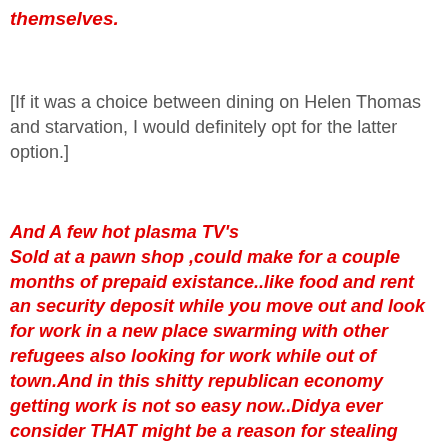themselves.
[If it was a choice between dining on Helen Thomas and starvation, I would definitely opt for the latter option.]
And A few hot plasma TV's
Sold at a pawn shop ,could make for a couple months of prepaid existance..like food and rent an security deposit while you move out and look for work in a new place swarming with other refugees also looking for work while out of town.And in this shitty republican economy getting work is not so easy now..Didya ever consider THAT might be a reason for stealing plasma TV's?